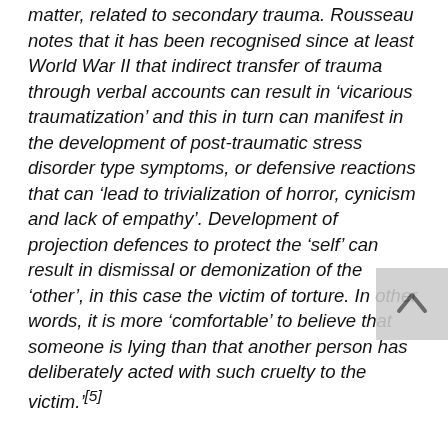matter, related to secondary trauma. Rousseau notes that it has been recognised since at least World War II that indirect transfer of trauma through verbal accounts can result in 'vicarious traumatization' and this in turn can manifest in the development of post-traumatic stress disorder type symptoms, or defensive reactions that can 'lead to trivialization of horror, cynicism and lack of empathy'. Development of projection defences to protect the 'self' can result in dismissal or demonization of the 'other', in this case the victim of torture. In other words, it is more 'comfortable' to believe that someone is lying than that another person has deliberately acted with such cruelty to the victim.'[5]